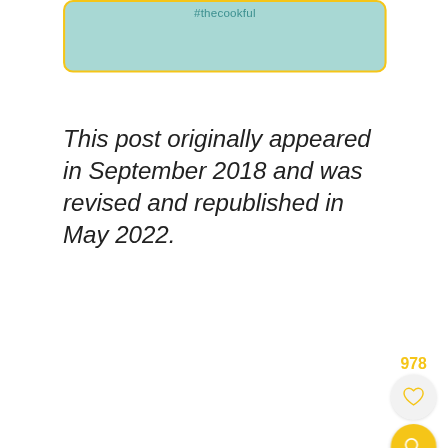[Figure (screenshot): A rounded rectangle card with teal/mint background and yellow border, showing the hashtag #thecookful at the top]
#thecookful
This post originally appeared in September 2018 and was revised and republished in May 2022.
[Figure (illustration): Heart/like button icon (978 likes) and a yellow circular search button in the bottom right corner]